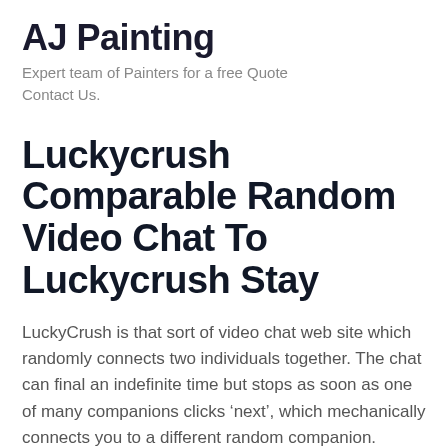AJ Painting
Expert team of Painters for a free Quote Contact Us.
Luckycrush Comparable Random Video Chat To Luckycrush Stay
LuckyCrush is that sort of video chat web site which randomly connects two individuals together. The chat can final an indefinite time but stops as soon as one of many companions clicks ‘next’, which mechanically connects you to a different random companion. LuckyCrush is the best reside random video chat website. Created in 2019, LuckyCrush has exploded to over a million clients in additional than a hundred